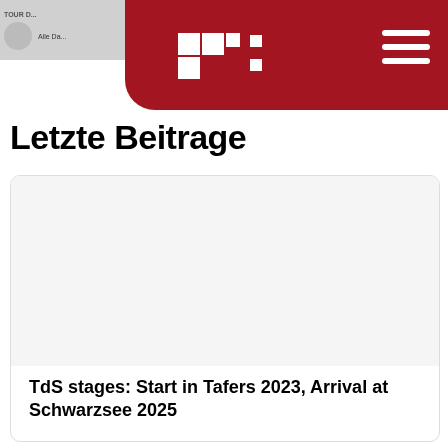Letzte Beitrage
[Figure (screenshot): Navigation header with red background, white logo (plus/cross pixel icon), hamburger menu icon on right, and partial thumbnail strip on left showing tour-related content]
Letzte Beitrage
[Figure (photo): Card with image area (blank/white) and article title: TdS stages: Start in Tafers 2023, Arrival at Schwarzsee 2025]
TdS stages: Start in Tafers 2023, Arrival at Schwarzsee 2025